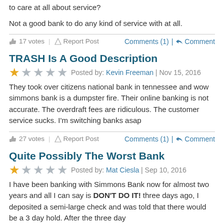to care at all about service?
Not a good bank to do any kind of service with at all.
17 votes | Report Post   Comments (1) | Comment
TRASH Is A Good Description
★ ★ ★ ★ ★  Posted by: Kevin Freeman | Nov 15, 2016
They took over citizens national bank in tennessee and wow simmons bank is a dumpster fire. Their online banking is not accurate. The overdraft fees are ridiculous. The customer service sucks. I'm switching banks asap
27 votes | Report Post   Comments (1) | Comment
Quite Possibly The Worst Bank
★ ★ ★ ★ ★  Posted by: Mat Ciesla | Sep 10, 2016
I have been banking with Simmons Bank now for almost two years and all I can say is DON'T DO IT! three days ago, I deposited a semi-large check and was told that there would be a 3 day hold. After the three day